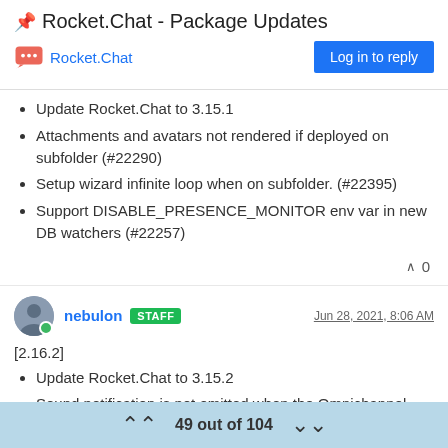📌 Rocket.Chat - Package Updates
Rocket.Chat  |  Log in to reply
Update Rocket.Chat to 3.15.1
Attachments and avatars not rendered if deployed on subfolder (#22290)
Setup wizard infinite loop when on subfolder. (#22395)
Support DISABLE_PRESENCE_MONITOR env var in new DB watchers (#22257)
^ 0
nebulon  STAFF  Jun 28, 2021, 8:06 AM
[2.16.2]
Update Rocket.Chat to 3.15.2
Sound notification is not emitted when the Omnichannel chat
49 out of 104